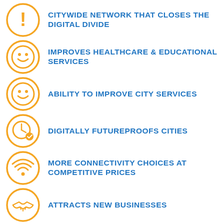CITYWIDE NETWORK THAT CLOSES THE DIGITAL DIVIDE
IMPROVES HEALTHCARE & EDUCATIONAL SERVICES
ABILITY TO IMPROVE CITY SERVICES
DIGITALLY FUTUREPROOFS CITIES
MORE CONNECTIVITY CHOICES AT COMPETITIVE PRICES
ATTRACTS NEW BUSINESSES